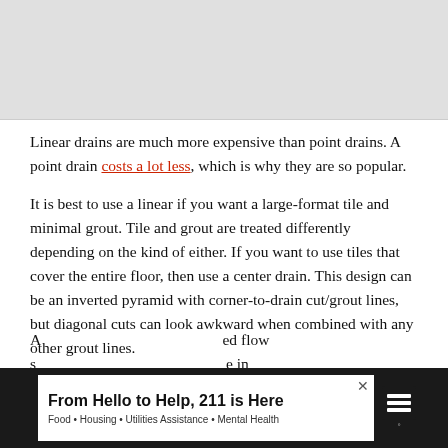[Figure (photo): Gray image placeholder area at the top of the page]
Linear drains are much more expensive than point drains. A point drain costs a lot less, which is why they are so popular.
It is best to use a linear if you want a large-format tile and minimal grout. Tile and grout are treated differently depending on the kind of either. If you want to use tiles that cover the entire floor, then use a center drain. This design can be an inverted pyramid with corner-to-drain cut/grout lines, but diagonal cuts can look awkward when combined with any other grout lines.
A [partially visible text] ...ed flow s... ...e in
[Figure (other): Advertisement banner: From Hello to Help, 211 is Here — Food • Housing • Utilities Assistance • Mental Health]